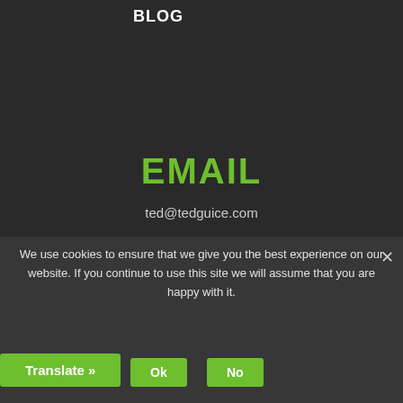BLOG
EMAIL
ted@tedguice.com
PHONE
831-236-6656
We use cookies to ensure that we give you the best experience on our website. If you continue to use this site we will assume that you are happy with it.
Ok
No
Translate »